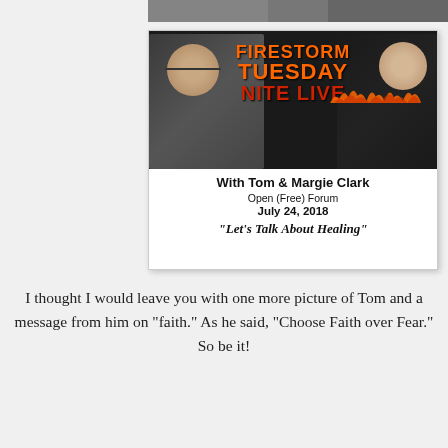[Figure (photo): Top cropped strip of a photo showing partial view of people against a dark/grey background]
[Figure (photo): Firestorm Tuesday Nite Live promotional flyer featuring Tom and Margie Clark. Shows two people (man on left in plaid shirt with glasses, woman on right in dark clothing with blonde hair) against a black background with orange and red stylized text reading FIRESTORM TUESDAY NITE LIVE. Below the photo area: With Tom & Margie Clark, Open (Free) Forum, July 24, 2018, "Let's Talk About Healing"]
I thought I would leave you with one more picture of Tom and a message from him on “faith.” As he said, “Choose Faith over Fear.” So be it!